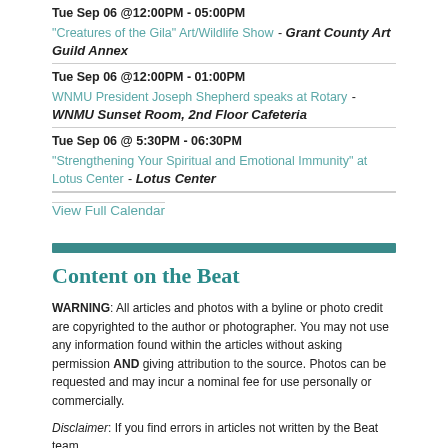Tue Sep 06 @12:00PM - 05:00PM
"Creatures of the Gila" Art/Wildlife Show - Grant County Art Guild Annex
Tue Sep 06 @12:00PM - 01:00PM
WNMU President Joseph Shepherd speaks at Rotary - WNMU Sunset Room, 2nd Floor Cafeteria
Tue Sep 06 @ 5:30PM - 06:30PM
"Strengthening Your Spiritual and Emotional Immunity" at Lotus Center - Lotus Center
View Full Calendar
Content on the Beat
WARNING: All articles and photos with a byline or photo credit are copyrighted to the author or photographer. You may not use any information found within the articles without asking permission AND giving attribution to the source. Photos can be requested and may incur a nominal fee for use personally or commercially.
Disclaimer: If you find errors in articles not written by the Beat team...